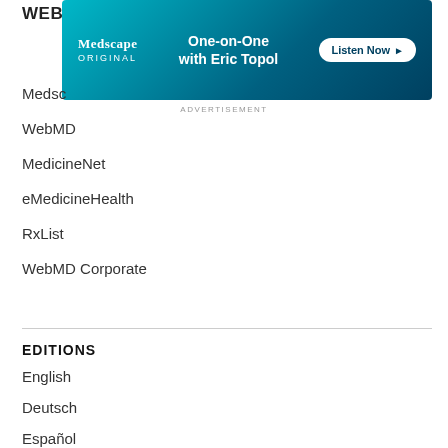WEBM
[Figure (screenshot): Medscape advertisement banner: 'One-on-One with Eric Topol' with Listen Now button]
ADVERTISEMENT
Medsc
WebMD
MedicineNet
eMedicineHealth
RxList
WebMD Corporate
EDITIONS
English
Deutsch
Español
Français
Português